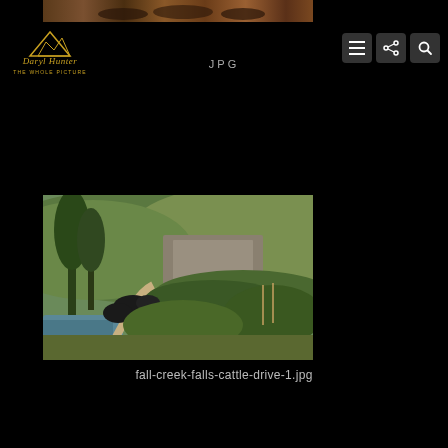[Figure (photo): Top banner showing horses in a field, partial view at top of page]
[Figure (logo): Daryl Hunter - The Whole Picture logo in gold/yellow script with mountain graphic]
JPG
[Figure (photo): Landscape photo showing cattle drive near Fall Creek Falls, with riders on black horses along a river trail surrounded by trees and green hills]
fall-creek-falls-cattle-drive-1.jpg